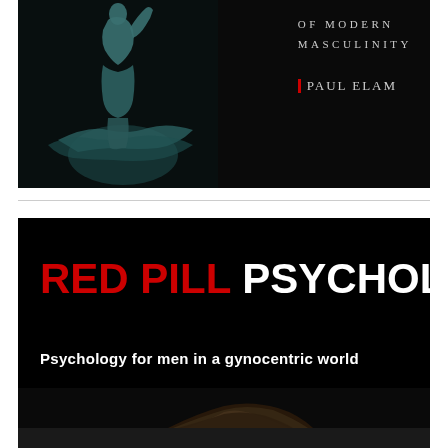[Figure (photo): Book cover with dark background showing a classical bronze statue of a figure in a dynamic pose. Text reads 'OF MODERN' and 'MASCULINITY' in spaced caps, with author name '|PAUL ELAM' where | is a red vertical bar.]
[Figure (photo): Book cover with solid black background. Large bold text reads 'RED PILL PSYCHOLOGY' where 'RED PILL' is in red and 'PSYCHOLOGY' is in white. Below: 'Psychology for men in a gynocentric world' in white bold text. Bottom shows partial image of a man's head/hair.]